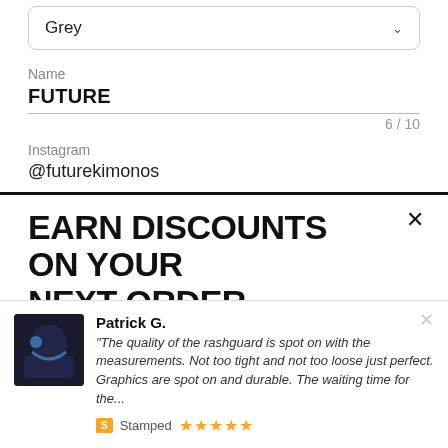Grey
Name
FUTURE
6 / 10
Instagram
@futurekimonos
EARN DISCOUNTS ON YOUR NEXT ORDER
Enter your email here and you will be subscribed to our email
Patrick G.
"The quality of the rashguard is spot on with the measurements. Not too tight and not too loose just perfect. Graphics are spot on and durable. The waiting time for the...
Stamped ★★★★★